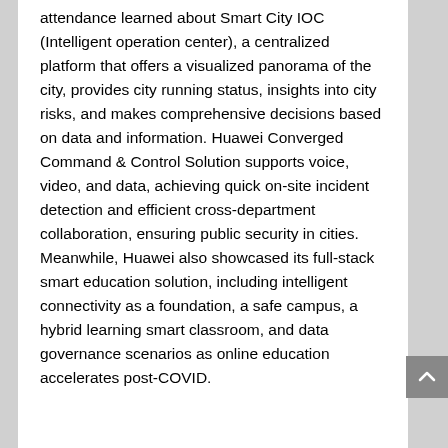attendance learned about Smart City IOC (Intelligent operation center), a centralized platform that offers a visualized panorama of the city, provides city running status, insights into city risks, and makes comprehensive decisions based on data and information. Huawei Converged Command & Control Solution supports voice, video, and data, achieving quick on-site incident detection and efficient cross-department collaboration, ensuring public security in cities. Meanwhile, Huawei also showcased its full-stack smart education solution, including intelligent connectivity as a foundation, a safe campus, a hybrid learning smart classroom, and data governance scenarios as online education accelerates post-COVID.